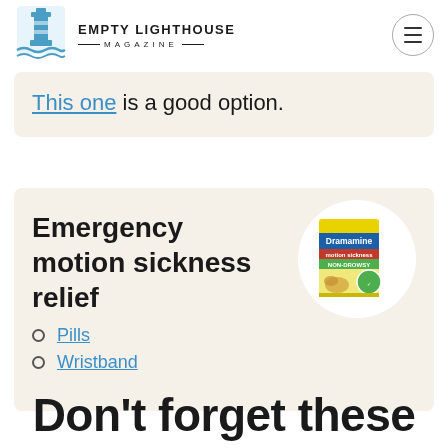EMPTY LIGHTHOUSE MAGAZINE
This one is a good option.
Emergency motion sickness relief
Pills
Wristband
[Figure (photo): Dramamine Non-Drowsy motion sickness pill box with ginger imagery]
Don't forget these